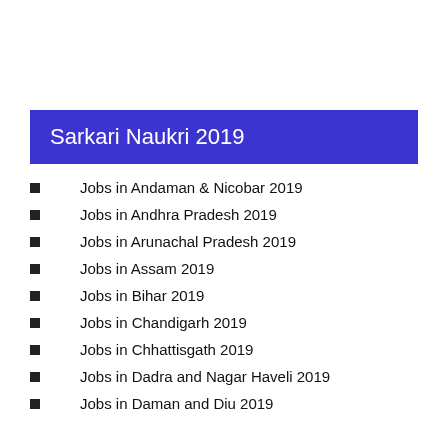Sarkari Naukri 2019
Jobs in Andaman & Nicobar 2019
Jobs in Andhra Pradesh 2019
Jobs in Arunachal Pradesh 2019
Jobs in Assam 2019
Jobs in Bihar 2019
Jobs in Chandigarh 2019
Jobs in Chhattisgath 2019
Jobs in Dadra and Nagar Haveli 2019
Jobs in Daman and Diu 2019